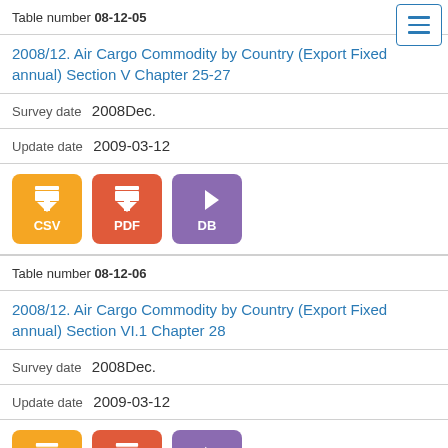Table number 08-12-05
2008/12. Air Cargo Commodity by Country (Export Fixed annual) Section V Chapter 25-27
Survey date  2008Dec.
Update date  2009-03-12
[Figure (other): Three download buttons: CSV (orange), PDF (red-orange), DB (purple)]
Table number 08-12-06
2008/12. Air Cargo Commodity by Country (Export Fixed annual) Section VI.1 Chapter 28
Survey date  2008Dec.
Update date  2009-03-12
[Figure (other): Three partial download buttons: CSV (orange), PDF (red-orange), DB (purple), partially visible at bottom]